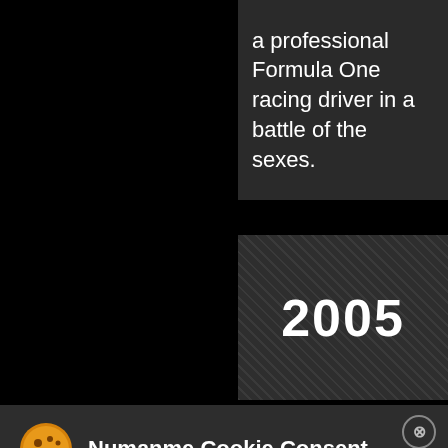a professional Formula One racing driver in a battle of the sexes.
2005
Numanme Cookie Consent
This website uses cookie or similar technologies, to enhance your browsing experience and provide personalised recommendations. By continuing to use our website, you agree to our Privacy Policy
CUSTOMIZE
Accept
Decline